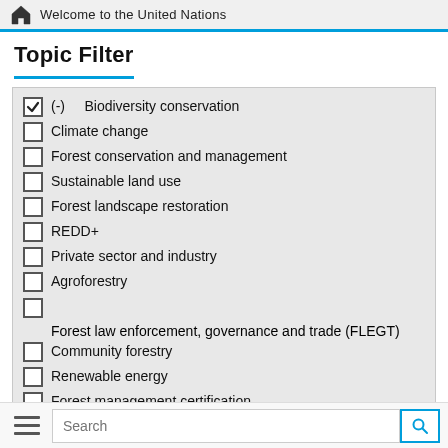Welcome to the United Nations
Topic Filter
(-) Biodiversity conservation [checked]
Climate change
Forest conservation and management
Sustainable land use
Forest landscape restoration
REDD+
Private sector and industry
Agroforestry
Forest law enforcement, governance and trade (FLEGT)
Community forestry
Renewable energy
Forest management certification
Search